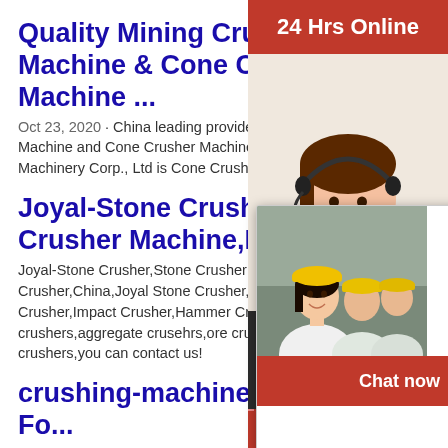Quality Mining Crushing Machine & Cone Crusher Machine ...
Oct 23, 2020 · China leading provider of Mining Crushing Machine and Cone Crusher Machine, Shanghai Sanme Mining Machinery Corp., Ltd is Cone Crusher Machine factory.
Joyal-Stone Crusher,Stone Crusher Machine,Rock Crusher...
Joyal-Stone Crusher,Stone Crusher Machine,Rock Crusher,Rock Crusher Machine Price Manufacturer From China,Joyal Stone Crusher Or Rock Crusher Includes Jaw Crusher,Cone Crusher,ZYS Cone Crusher,Impact Crusher,Hammer Crusher,and other quarry crushers,aggregate crusehrs,ore crusher,if you want to buy joyal stone crushers,you can contact us!
crushing-machine - Crushers For Sale
Jaw crushers, impact crushers, cone crushers ... individual fixed crushers or the complete ...
[Figure (screenshot): Live Chat popup overlay showing workers in hard hats on left, 'LIVE CHAT' text in red italic bold, 'Click for a Free Consultation' subtitle, and two buttons: 'Chat now' (red) and 'Chat later' (dark grey), with a close button (X circle) in the top right.]
[Figure (screenshot): Right-side chat widget panel showing '24 Hrs Online' red bar at top, a customer service agent photo (woman with headset), a dark 'Need questions & suggestion?' panel with a red 'Chat Now' oval button, and a red 'Enquire' bar at the bottom with a dashed border on top.]